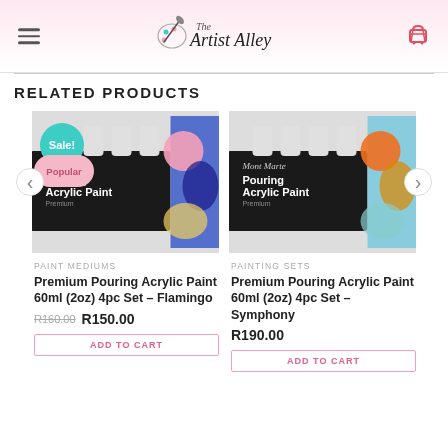The Artist Alley
RELATED PRODUCTS
[Figure (photo): Mont Marte Premium Pouring Acrylic Paint 60ml 4pc Set - Flamingo, with Sale! and Popular badges]
PAINT MEDIUMS
Premium Pouring Acrylic Paint 60ml (2oz) 4pc Set – Flamingo
R160.00 R150.00
ADD TO CART
[Figure (photo): Mont Marte Premium Pouring Acrylic Paint 60ml 4pc Set - Symphony]
PAINTING SETS
Premium Pouring Acrylic Paint 60ml (2oz) 4pc Set – Symphony
R190.00
ADD TO CART